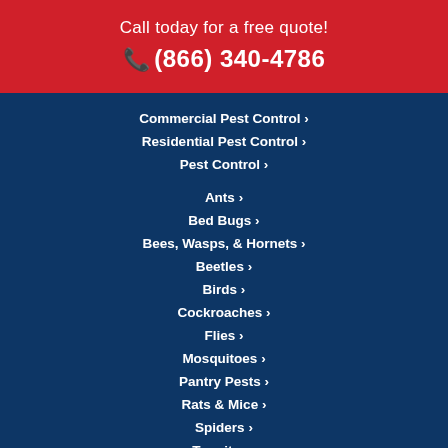Call today for a free quote!
📞 (866) 340-4786
Commercial Pest Control ›
Residential Pest Control ›
Pest Control ›
Ants ›
Bed Bugs ›
Bees, Wasps, & Hornets ›
Beetles ›
Birds ›
Cockroaches ›
Flies ›
Mosquitoes ›
Pantry Pests ›
Rats & Mice ›
Spiders ›
Termites ›